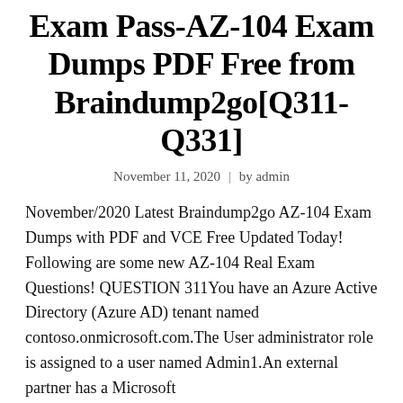Exam Pass-AZ-104 Exam Dumps PDF Free from Braindump2go[Q311-Q331]
November 11, 2020 | by admin
November/2020 Latest Braindump2go AZ-104 Exam Dumps with PDF and VCE Free Updated Today! Following are some new AZ-104 Real Exam Questions! QUESTION 311You have an Azure Active Directory (Azure AD) tenant named contoso.onmicrosoft.com.The User administrator role is assigned to a user named Admin1.An external partner has a Microsoft